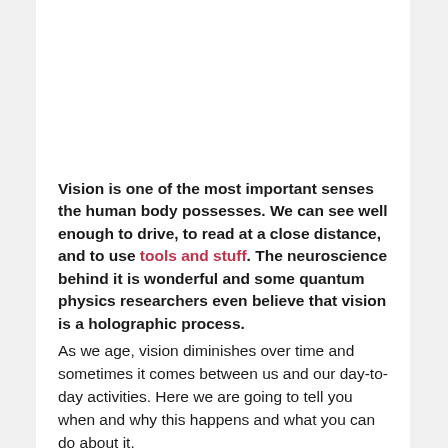Vision is one of the most important senses the human body possesses. We can see well enough to drive, to read at a close distance, and to use tools and stuff. The neuroscience behind it is wonderful and some quantum physics researchers even believe that vision is a holographic process.
As we age, vision diminishes over time and sometimes it comes between us and our day-to-day activities. Here we are going to tell you when and why this happens and what you can do about it.